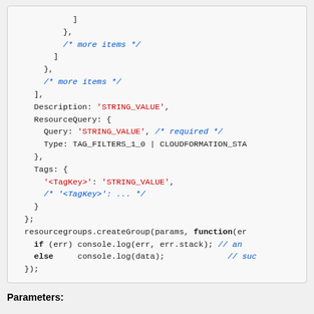Code block showing JavaScript resourcegroups.createGroup parameters and callback
Parameters: